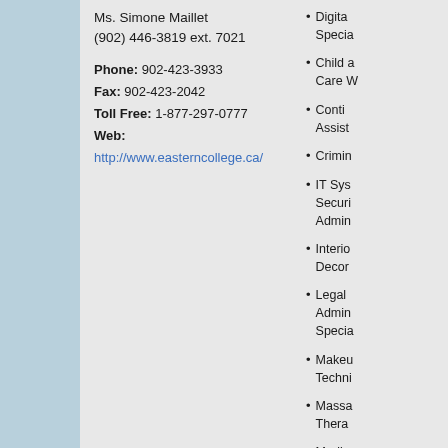Ms. Simone Maillet
(902) 446-3819 ext. 7021
Phone: 902-423-3933
Fax: 902-423-2042
Toll Free: 1-877-297-0777
Web:
http://www.easterncollege.ca/
Digital... Specia...
Child ... Care W...
Conti... Assist...
Crimin...
IT Sys... Securi... Admin...
Interio... Decor...
Legal ... Admin... Specia...
Makeu... Techni...
Massa... Thera...
Medic...